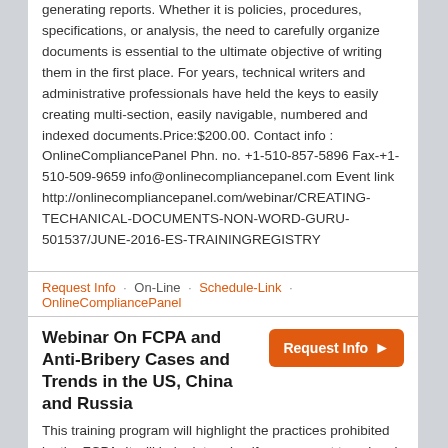generating reports. Whether it is policies, procedures, specifications, or analysis, the need to carefully organize documents is essential to the ultimate objective of writing them in the first place. For years, technical writers and administrative professionals have held the keys to easily creating multi-section, easily navigable, numbered and indexed documents.Price:$200.00. Contact info : OnlineCompliancePanel Phn. no. +1-510-857-5896 Fax-+1-510-509-9659 info@onlinecompliancepanel.com Event link http://onlinecompliancepanel.com/webinar/CREATING-TECHANICAL-DOCUMENTS-NON-WORD-GURU-501537/JUNE-2016-ES-TRAININGREGISTRY
Request Info · On-Line · Schedule-Link · OnlineCompliancePanel
Webinar On FCPA and Anti-Bribery Cases and Trends in the US, China and Russia
This training program will highlight the practices prohibited by the FCPA. It will help determine if your current travel and entertainment policy is in compliance and discuss what accounting and anti-bribery violations are covered.Price:$200.00. Contact info :